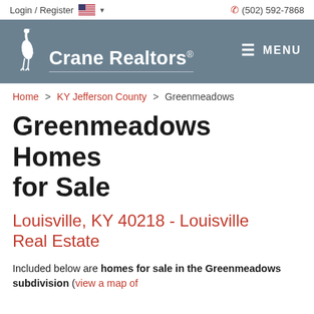Login / Register  (502) 592-7868
[Figure (logo): Crane Realtors logo with heron bird icon and text 'Crane Realtors®' on a blue-grey header banner, with MENU hamburger on the right]
Home > KY Jefferson County > Greenmeadows
Greenmeadows Homes for Sale
Louisville, KY 40218 - Louisville Real Estate
Included below are homes for sale in the Greenmeadows subdivision (view a map of